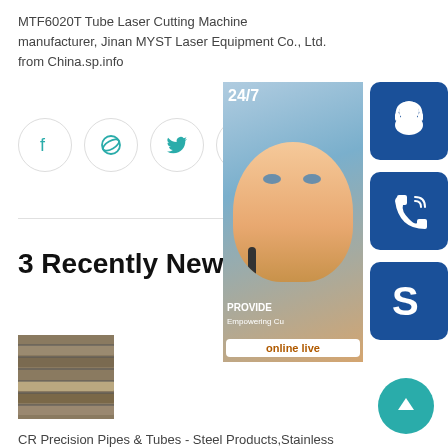MTF6020T Tube Laser Cutting Machine manufacturer, Jinan MYST Laser Equipment Co., Ltd. from China.sp.info
[Figure (illustration): Social media icon buttons: Facebook, Dribbble, Twitter, Google+]
[Figure (infographic): Customer service sidebar widget: 24/7 support with a woman wearing headset, phone icon, Skype icon, 'PROVIDE Empowering Cu...' text, 'online live' button]
3 Recently News
[Figure (photo): Thumbnail image of stacked steel plates/sheets]
CR Precision Pipes & Tubes - Steel Products,Stainless
[Figure (illustration): Scroll to top circular teal button with upward arrow]